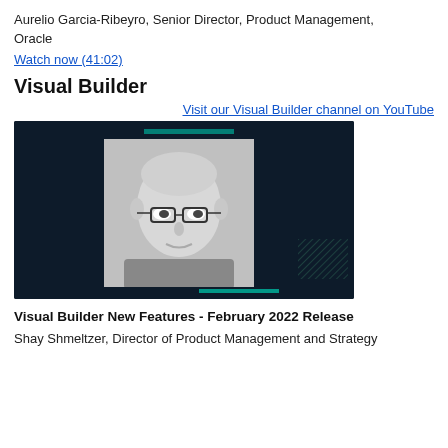Aurelio Garcia-Ribeyro, Senior Director, Product Management, Oracle
Watch now (41:02)
Visual Builder
Visit our Visual Builder channel on YouTube
[Figure (screenshot): Video thumbnail showing a bald man with glasses on a dark tech-themed background with teal accent elements]
Visual Builder New Features - February 2022 Release
Shay Shmeltzer, Director of Product Management and Strategy